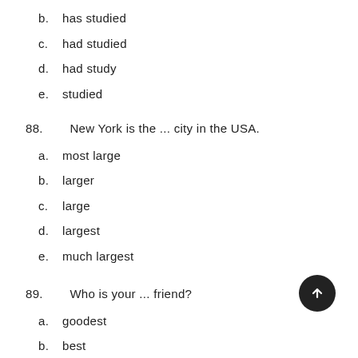b.  has studied
c.  had studied
d.  had study
e.  studied
88.   New York is the ... city in the USA.
a.  most large
b.  larger
c.  large
d.  largest
e.  much largest
89.   Who is your ... friend?
a.  goodest
b.  best